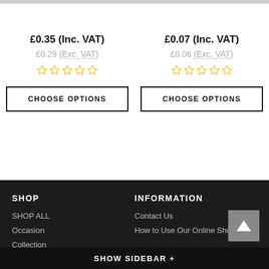£0.35 (Inc. VAT)
£0.29 (Exc. VAT)
☆☆☆☆☆
CHOOSE OPTIONS
£0.07 (Inc. VAT)
£0.06 (Exc. VAT)
☆☆☆☆☆
CHOOSE OPTIONS
SHOP
SHOP ALL
Occasion
Collection
INFORMATION
Contact Us
How to Use Our Online Shop
SHOW SIDEBAR +